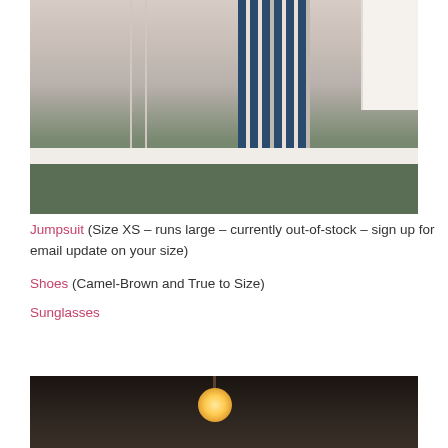[Figure (photo): Photo of a person wearing a navy blue striped jumpsuit and camel-brown sandals, standing against a pink/beige wall with a green floor and a white shelf unit visible on the right.]
Jumpsuit (Size XS – runs large – currently out-of-stock – sign up for email update on your size)
Shoes (Camel-Brown and True to Size)
Sunglasses
[Figure (photo): Partial photo showing a dark interior with a round illuminated lamp visible near the top, against a very dark background.]